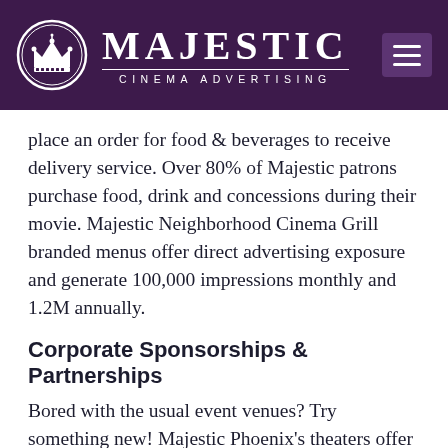MAJESTIC CINEMA ADVERTISING
place an order for food & beverages to receive delivery service. Over 80% of Majestic patrons purchase food, drink and concessions during their movie. Majestic Neighborhood Cinema Grill branded menus offer direct advertising exposure and generate 100,000 impressions monthly and 1.2M annually.
Corporate Sponsorships & Partnerships
Bored with the usual event venues? Try something new! Majestic Phoenix's theaters offer great benefits, including Service at Your Seat and a full-service bar. Enjoy a night out by renting a theater